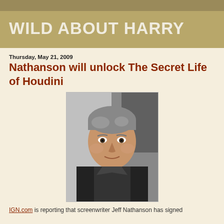WILD ABOUT HARRY
Thursday, May 21, 2009
Nathanson will unlock The Secret Life of Houdini
[Figure (photo): Headshot photo of a middle-aged man with gray hair, wearing a dark jacket, smiling slightly against a gray background]
IGN.com is reporting that screenwriter Jeff Nathanson has signed